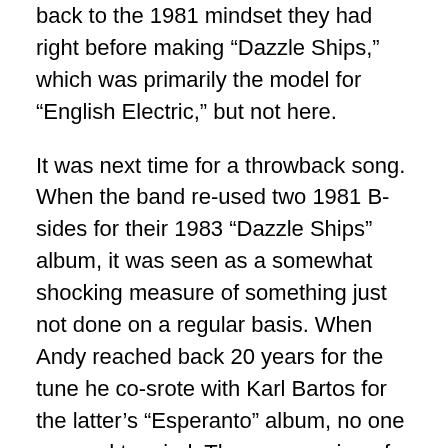back to the 1981 mindset they had right before making “Dazzle Ships,” which was primarily the model for “English Electric,” but not here.
It was next time for a throwback song. When the band re-used two 1981 B-sides for their 1983 “Dazzle Ships” album, it was seen as a somewhat shocking measure of something just not done on a regular basis. When Andy reached back 20 years for the tune he co-srote with Karl Bartos for the latter’s “Esperanto” album, no one seemed to mind. The new version of “Kissing The Machine” features Paul Humphrey’s partner, Claudia Brücken singing the bridge in German, but otherwise hews closely to the sound of the original version. The wailing synth lead on that song from 1993 was replicated here, and by 2013, was something of a fall-back synth patch that OMD has